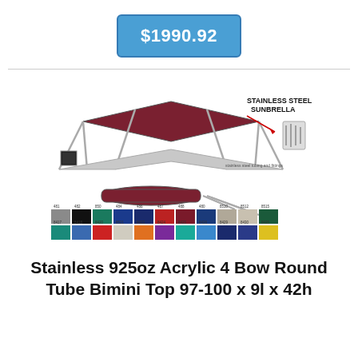$1990.92
[Figure (illustration): Product illustration of a 4-bow bimini top with stainless steel frame shown assembled and folded, with label 'STAINLESS STEEL SUNBRELLA' and an arrow pointing to hardware. Below are color swatches showing available fabric options in two rows.]
Stainless 925oz Acrylic 4 Bow Round Tube Bimini Top 97-100 x 9l x 42h